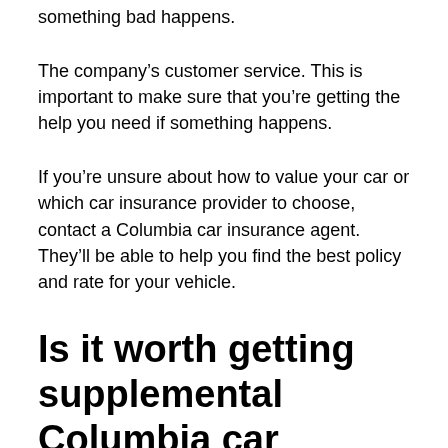something bad happens.
The company's customer service. This is important to make sure that you're getting the help you need if something happens.
If you're unsure about how to value your car or which car insurance provider to choose, contact a Columbia car insurance agent. They'll be able to help you find the best policy and rate for your vehicle.
Is it worth getting supplemental Columbia car insurance coverage?
If you own a car in Missouri, you need to be sure to have